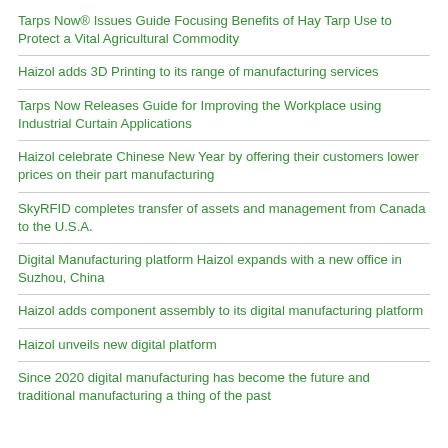Tarps Now® Issues Guide Focusing Benefits of Hay Tarp Use to Protect a Vital Agricultural Commodity
Haizol adds 3D Printing to its range of manufacturing services
Tarps Now Releases Guide for Improving the Workplace using Industrial Curtain Applications
Haizol celebrate Chinese New Year by offering their customers lower prices on their part manufacturing
SkyRFID completes transfer of assets and management from Canada to the U.S.A.
Digital Manufacturing platform Haizol expands with a new office in Suzhou, China
Haizol adds component assembly to its digital manufacturing platform
Haizol unveils new digital platform
Since 2020 digital manufacturing has become the future and traditional manufacturing a thing of the past